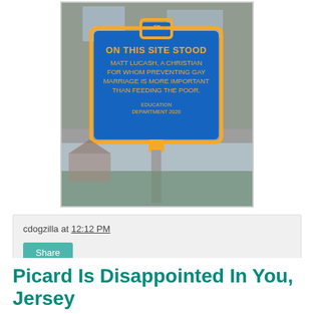[Figure (photo): Photo of a blue and yellow historical-style marker sign on a pole in front of bare winter trees. The sign reads: 'ON THIS SITE STOOD MATT LUCASH, A CHRISTIAN FOR WHOM PREVENTING GAY MARRIAGE IS MORE IMPORTANT THAN FEEDING THE POOR. EDUCATION DEPARTMENT 2026']
cdogzilla at 12:12 PM
Share
Picard Is Disappointed In You, Jersey